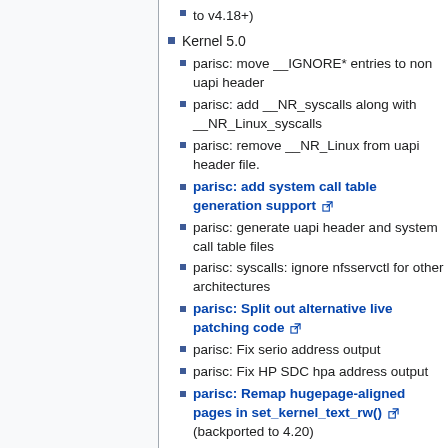to v4.18+)
Kernel 5.0
parisc: move __IGNORE* entries to non uapi header
parisc: add __NR_syscalls along with __NR_Linux_syscalls
parisc: remove __NR_Linux from uapi header file.
parisc: add system call table generation support [external link]
parisc: generate uapi header and system call table files
parisc: syscalls: ignore nfsservctl for other architectures
parisc: Split out alternative live patching code [external link]
parisc: Fix serio address output
parisc: Fix HP SDC hpa address output
parisc: Remap hugepage-aligned pages in set_kernel_text_rw() [external link] (backported to 4.20)
parisc: Fix ptrace syscall number modification [external link] (backported to 4.5+)